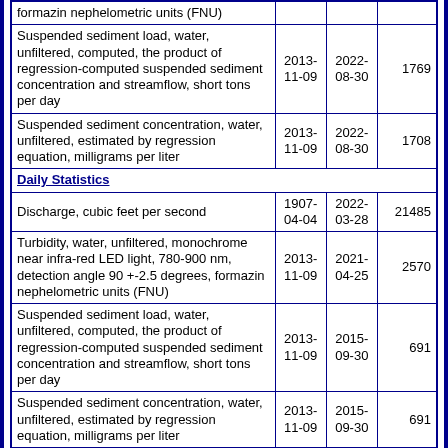| Parameter | Begin Date | End Date | Count |
| --- | --- | --- | --- |
| formazin nephelometric units (FNU) |  |  |  |
| Suspended sediment load, water, unfiltered, computed, the product of regression-computed suspended sediment concentration and streamflow, short tons per day | 2013-11-09 | 2022-08-30 | 1769 |
| Suspended sediment concentration, water, unfiltered, estimated by regression equation, milligrams per liter | 2013-11-09 | 2022-08-30 | 1708 |
| Daily Statistics |  |  |  |
| Discharge, cubic feet per second | 1907-04-04 | 2022-03-28 | 21485 |
| Turbidity, water, unfiltered, monochrome near infra-red LED light, 780-900 nm, detection angle 90 +-2.5 degrees, formazin nephelometric units (FNU) | 2013-11-09 | 2021-04-25 | 2570 |
| Suspended sediment load, water, unfiltered, computed, the product of regression-computed suspended sediment concentration and streamflow, short tons per day | 2013-11-09 | 2015-09-30 | 691 |
| Suspended sediment concentration, water, unfiltered, estimated by regression equation, milligrams per liter | 2013-11-09 | 2015-09-30 | 691 |
| Monthly Statistics |  |  |  |
| Discharge, cubic feet per second | 1907-04 | 2022-03 |  |